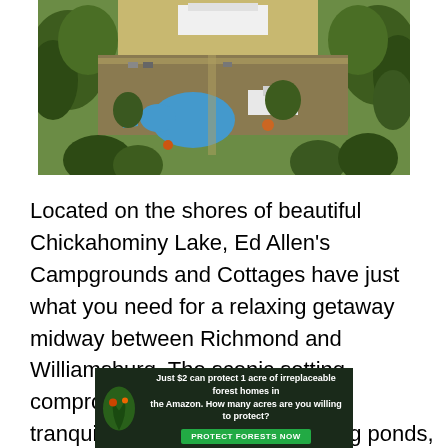[Figure (photo): Aerial view of Ed Allen's Campgrounds and Cottages on Chickahominy Lake, showing green grounds, a fish-shaped pool, buildings, and surrounding trees]
Located on the shores of beautiful Chickahominy Lake, Ed Allen's Campgrounds and Cottages have just what you need for a relaxing getaway midway between Richmond and Williamsburg. The scenic setting compromises 85 acres of shaded tranquility with two stocked fishing ponds, a fishing pier, and rental services for boats, kayaks, and paddle boats. Come in an RV, bring a camper, pitch a tent,
[Figure (infographic): Advertisement banner: 'Just $2 can protect 1 acre of irreplaceable forest homes in the Amazon. How many acres are you willing to protect?' with a green 'PROTECT FORESTS NOW' button]